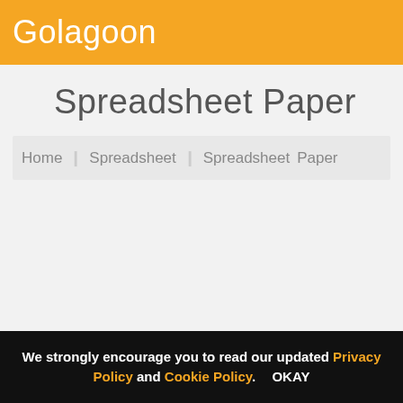Golagoon
Spreadsheet Paper
Home  ❯  Spreadsheet  ❯  Spreadsheet Paper
We strongly encourage you to read our updated Privacy Policy and Cookie Policy.   OKAY